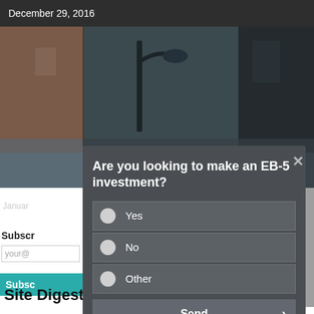December 29, 2016
[Figure (photo): Background photo of urban street scene with lamp post and building facade]
by Chl
Januar
Subscr
your@
Subsc
Are you looking to make an EB-5 investment?
Yes
No
Other
Send
Site Digest